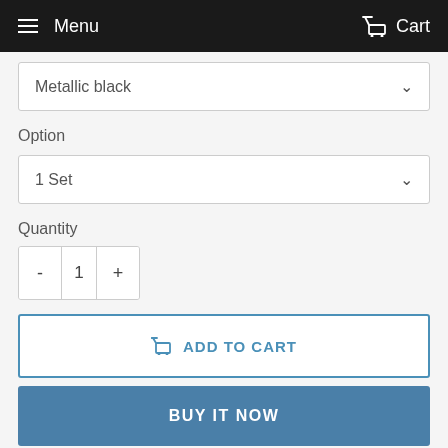Menu  Cart
Metallic black
Option
1 Set
Quantity
- 1 +
ADD TO CART
BUY IT NOW